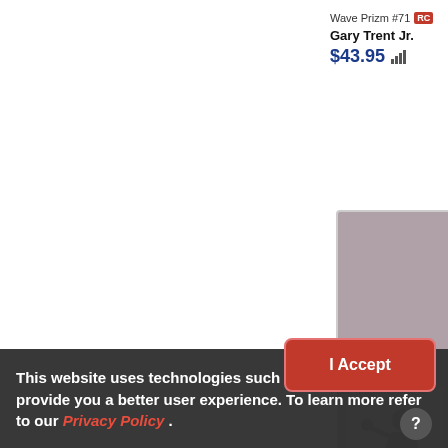Wave Prizm #71 RC
Gary Trent Jr.
$43.95
[Figure (photo): Trading card image showing a basketball player figure on a magenta/pink printing plate card background]
2014-15 Panini Natio... Gold Logoman Signa... Plate Magenta #GL-...
This website uses technologies such as cookies to provide you a better user experience. To learn more refer to our Privacy Policy .
I Accept